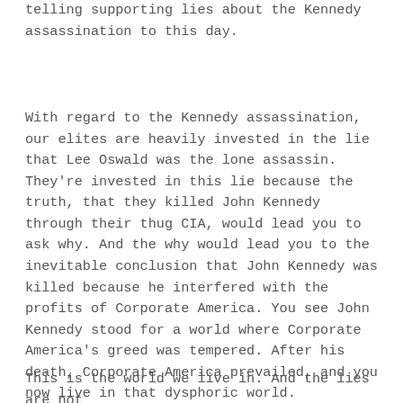telling supporting lies about the Kennedy assassination to this day.
With regard to the Kennedy assassination, our elites are heavily invested in the lie that Lee Oswald was the lone assassin. They're invested in this lie because the truth, that they killed John Kennedy through their thug CIA, would lead you to ask why. And the why would lead you to the inevitable conclusion that John Kennedy was killed because he interfered with the profits of Corporate America. You see John Kennedy stood for a world where Corporate America's greed was tempered. After his death, Corporate America prevailed, and you now live in that dysphoric world.
This is the world we live in. And the lies are not